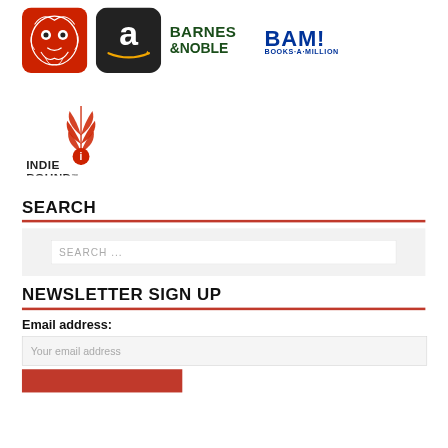[Figure (logo): Row of retailer logos: an illustrated owl/cat-like logo (red background), Amazon app icon (black), Barnes & Noble text logo (dark green), BAM! Books-A-Million logo (blue)]
[Figure (logo): IndieBound logo: red sketchy leaf/wheat design with 'i' and text INDIE BOUND below]
SEARCH
[Figure (screenshot): Search input box with placeholder text 'SEARCH ...' on light gray background]
NEWSLETTER SIGN UP
Email address:
[Figure (screenshot): Email address input field with placeholder 'Your email address' and a red submit button below]